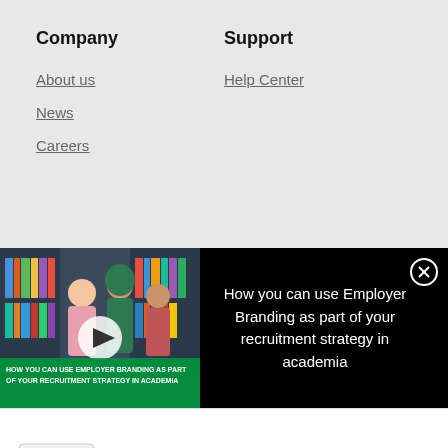Company
About us
News
Careers
Support
Help Center
[Figure (screenshot): Video thumbnail showing students in a library with text overlay: HOW YOU CAN USE EMPLOYER BRANDING AS PART OF YOUR RECRUITMENT STRATEGY IN ACADEMIA, with a play button overlay]
How you can use Employer Branding as part of your recruitment strategy in academia
[Figure (photo): Thermo Fisher Scientific Laser Capture Microdissection instrument]
ThermoFisher SCIENTIFIC
Laser Capture Microdissection